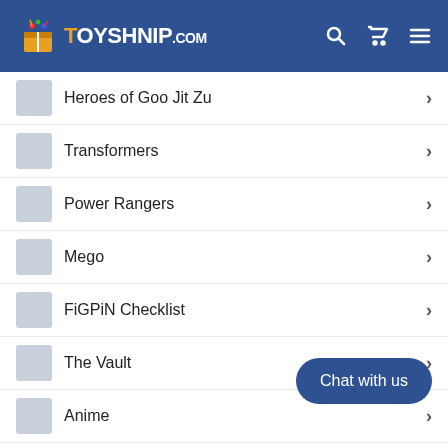TOYSHNIP.com
Heroes of Goo Jit Zu
Transformers
Power Rangers
Mego
FiGPiN Checklist
The Vault
Anime
Moose Toys
Mattel
Chat with us